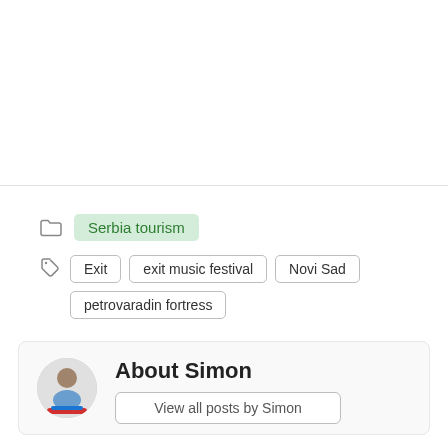Serbia tourism
Exit
exit music festival
Novi Sad
petrovaradin fortress
About Simon
View all posts by Simon